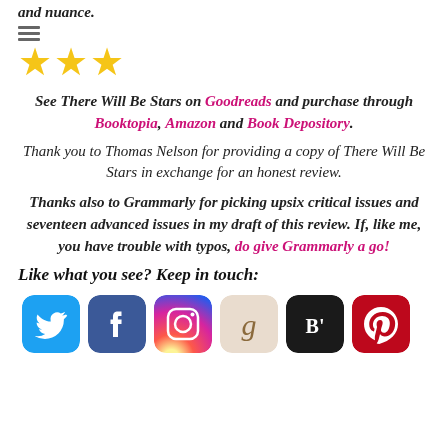and nuance.
[Figure (illustration): Three gold/yellow stars rating]
See There Will Be Stars on Goodreads and purchase through Booktopia, Amazon and Book Depository.
Thank you to Thomas Nelson for providing a copy of There Will Be Stars in exchange for an honest review.
Thanks also to Grammarly for picking up six critical issues and seventeen advanced issues in my draft of this review. If, like me, you have trouble with typos, do give Grammarly a go!
Like what you see? Keep in touch:
[Figure (illustration): Row of six social media icons: Twitter (blue bird), Facebook (blue f), Instagram (camera), Goodreads (g), Bloglovin (B'), Pinterest (red P)]